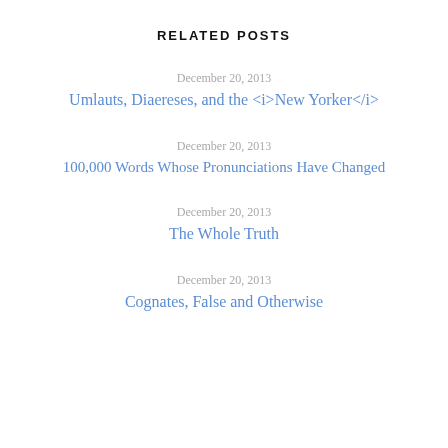RELATED POSTS
December 20, 2013
Umlauts, Diaereses, and the <i>New Yorker</i>
December 20, 2013
100,000 Words Whose Pronunciations Have Changed
December 20, 2013
The Whole Truth
December 20, 2013
Cognates, False and Otherwise